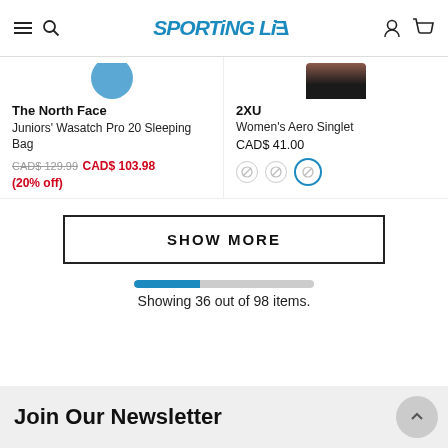Sporting Life
The North Face
Juniors' Wasatch Pro 20 Sleeping Bag
CAD$ 129.99 CAD$ 103.98 (20% off)
2XU
Women's Aero Singlet
CAD$ 41.00
SHOW MORE
Showing 36 out of 98 items.
Join Our Newsletter